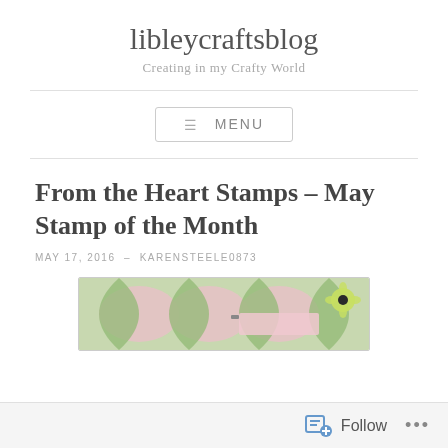libleycraftsblog
Creating in my Crafty World
[Figure (screenshot): Navigation menu button with hamburger icon and MENU text]
From the Heart Stamps – May Stamp of the Month
MAY 17, 2016 – KARENSTEELE0873
[Figure (photo): Partial view of a craft project with pink and green floral/geometric pattern and a flower embellishment]
Follow ...